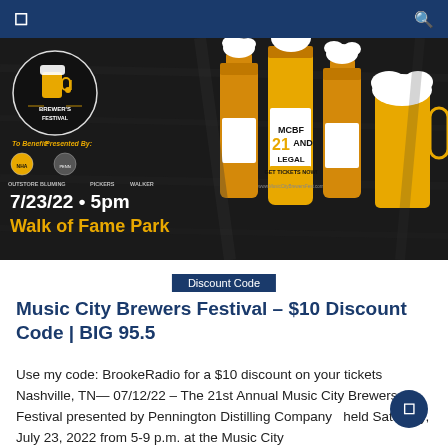☰  🔍
[Figure (illustration): Music City Brewer's Festival promotional banner. Dark woodgrain background with beer bottles and mugs. Text reads: 7/23/22 • 5pm, Walk of Fame Park, MCBF TURNS 21 AND LEGAL, GET TICKETS NOW!, www.MusicCityBrewersFest.com. Brewer's Festival circular logo with mug. Sponsor logos shown.]
Discount Code
Music City Brewers Festival – $10 Discount Code | BIG 95.5
Use my code: BrookeRadio for a $10 discount on your tickets Nashville, TN— 07/12/22 – The 21st Annual Music City Brewers Festival presented by Pennington Distilling Company held Saturday, July 23, 2022 from 5-9 p.m. at the Music City